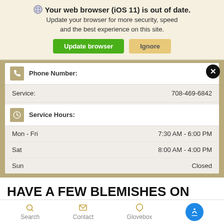Your web browser (iOS 11) is out of date. Update your browser for more security, speed and the best experience on this site.
[Figure (screenshot): Browser update warning banner with 'Update browser' (green) and 'Ignore' (tan) buttons]
|  |  |
| --- | --- |
| Phone Number: |  |
| Service: | 708-469-6842 |
| Service Hours: |  |
| Mon - Fri | 7:30 AM - 6:00 PM |
| Sat | 8:00 AM - 4:00 PM |
| Sun | Closed |
HAVE A FEW BLEMISHES ON YOUR CADILLAC?
Search   Contact   Glovebox